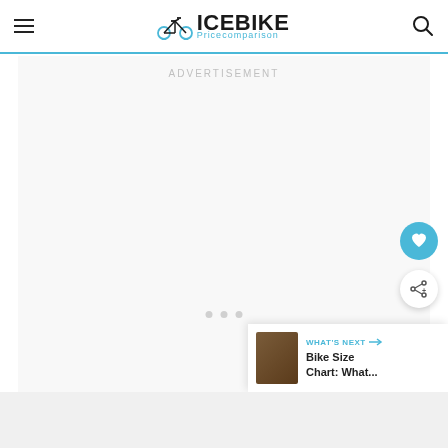ICEBIKE Pricecomparison
ADVERTISEMENT
[Figure (other): Floating heart favorite button (blue circle with heart icon)]
[Figure (other): Floating share button (white circle with share icon)]
WHAT'S NEXT → Bike Size Chart: What...